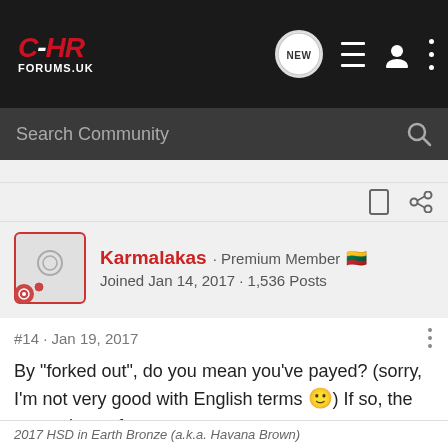C-HR FORUMS.UK
Search Community
Karmalakas · Premium Member 🇱🇹
Joined Jan 14, 2017 · 1,536 Posts
#14 · Jan 19, 2017
By "forked out", do you mean you've payed? (sorry, I'm not very good with English terms 🙂) If so, the manuals are free.
2017 HSD in Earth Bronze (a.k.a. Havana Brown)